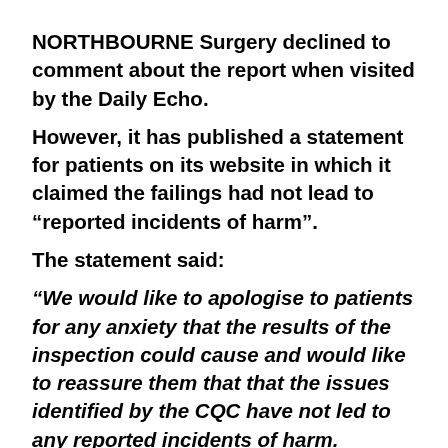NORTHBOURNE Surgery declined to comment about the report when visited by the Daily Echo.
However, it has published a statement for patients on its website in which it claimed the failings had not lead to “reported incidents of harm”.
The statement said:
“We would like to apologise to patients for any anxiety that the results of the inspection could cause and would like to reassure them that that the issues identified by the CQC have not led to any reported incidents of harm.
“We have already been working with local